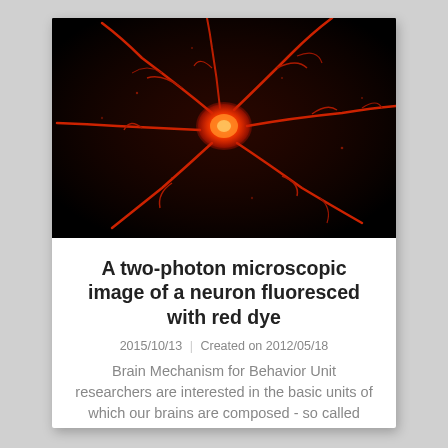[Figure (photo): Two-photon microscopic fluorescence image of a neuron stained with red dye against a black background. The neuron cell body glows bright orange-red in the center with multiple dendrites extending outward in all directions, also glowing red against the black background.]
A two-photon microscopic image of a neuron fluoresced with red dye
2015/10/13 | Created on 2012/05/18
Brain Mechanism for Behavior Unit researchers are interested in the basic units of which our brains are composed - so called nerve cells or neurons. S...